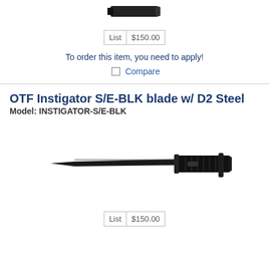[Figure (photo): Partial knife image at top of page (cropped, black knife handle visible)]
List $150.00
To order this item, you need to apply!
Compare
OTF Instigator S/E-BLK blade w/ D2 Steel
Model: INSTIGATOR-S/E-BLK
[Figure (photo): Black OTF automatic knife, fully deployed blade, black handle with tactical clip, shown horizontally on white background]
List $150.00